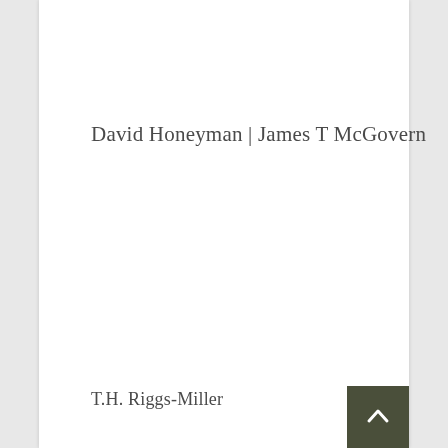David Honeyman | James T McGovern
T.H. Riggs-Miller